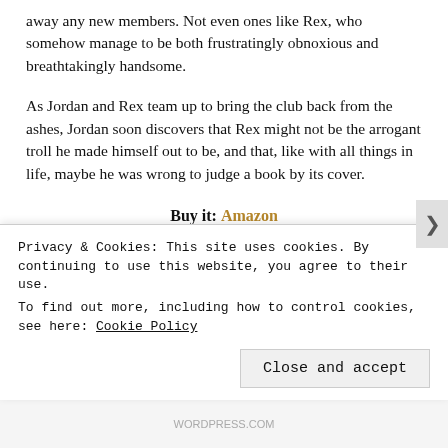away any new members. Not even ones like Rex, who somehow manage to be both frustratingly obnoxious and breathtakingly handsome.
As Jordan and Rex team up to bring the club back from the ashes, Jordan soon discovers that Rex might not be the arrogant troll he made himself out to be, and that, like with all things in life, maybe he was wrong to judge a book by its cover.
Buy it: Amazon
Felix Ever After by Kacen Callender (5th)
Privacy & Cookies: This site uses cookies. By continuing to use this website, you agree to their use.
To find out more, including how to control cookies, see here: Cookie Policy
Close and accept